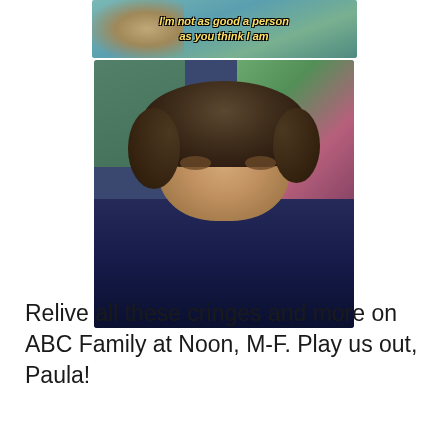[Figure (photo): Two stacked TV show screenshots: top shows a subtitle 'I'm not as good a person as you think I am' over a person in a teal top; bottom shows a close-up of a young man with brown hair wearing a dark navy polo shirt, outdoors with plants in background.]
Relive all these cringes and more on ABC Family at Noon, M-F. Play us out, Paula!